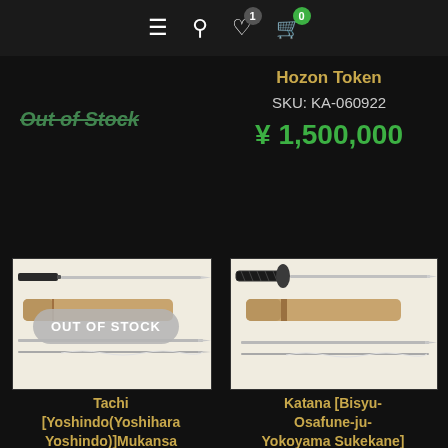Navigation bar with menu, search, wishlist (1), and cart (0) icons
Out of Stock
Hozon Token
SKU: KA-060922
¥ 1,500,000
[Figure (photo): Left product thumbnail showing katana sword (tachi) with tan/wood sheath on white background, overlaid with OUT OF STOCK badge]
[Figure (photo): Right product thumbnail showing katana sword with black handle and tan sheath on white background]
Tachi [Yoshindo(Yoshihara Yoshindo)]Mukansa
Katana [Bisyu-Osafune-ju-Yokoyama Sukekane] [N.B.T.H.K]Tokubetsu...